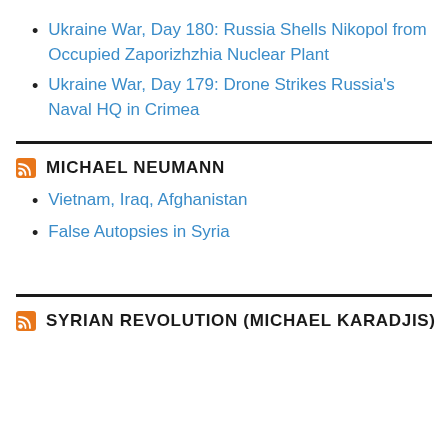Ukraine War, Day 180: Russia Shells Nikopol from Occupied Zaporizhzhia Nuclear Plant
Ukraine War, Day 179: Drone Strikes Russia's Naval HQ in Crimea
MICHAEL NEUMANN
Vietnam, Iraq, Afghanistan
False Autopsies in Syria
SYRIAN REVOLUTION (MICHAEL KARADJIS)